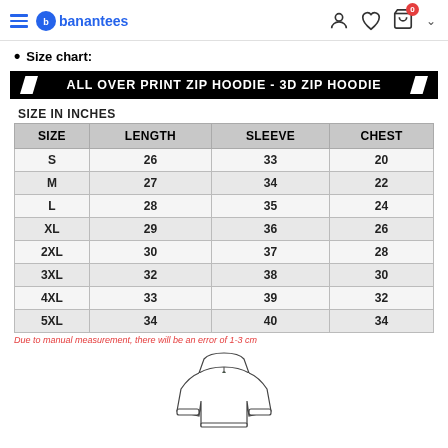banantees — navigation header with hamburger, logo, user icon, heart icon, cart icon (badge: 0), chevron
Size chart:
[Figure (other): Black banner with slanted white parallelogram shapes on left and right. Text: ALL OVER PRINT ZIP HOODIE - 3D ZIP HOODIE]
SIZE IN INCHES
| SIZE | LENGTH | SLEEVE | CHEST |
| --- | --- | --- | --- |
| S | 26 | 33 | 20 |
| M | 27 | 34 | 22 |
| L | 28 | 35 | 24 |
| XL | 29 | 36 | 26 |
| 2XL | 30 | 37 | 28 |
| 3XL | 32 | 38 | 30 |
| 4XL | 33 | 39 | 32 |
| 5XL | 34 | 40 | 34 |
Due to manual measurement, there will be an error of 1-3 cm
[Figure (illustration): Line illustration of a zip hoodie garment showing front view]